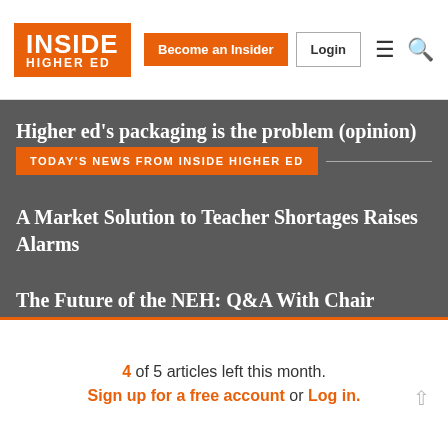INSIDE HIGHER ED | Become an Insider | Login
Higher ed's packaging is the problem (opinion)
TODAY'S NEWS FROM INSIDE HIGHER ED
A Market Solution to Teacher Shortages Raises Alarms
The Future of the NEH: Q&A With Chair
4 of 5 articles left this month.
Sign up for a free account or Log in.